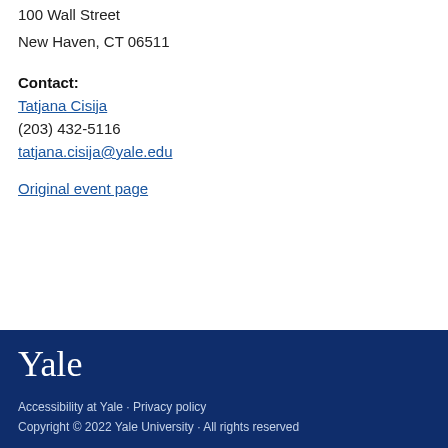100 Wall Street
New Haven, CT 06511
Contact:
Tatjana Cisija
(203) 432-5116
tatjana.cisija@yale.edu
Original event page
Yale
Accessibility at Yale · Privacy policy
Copyright © 2022 Yale University · All rights reserved